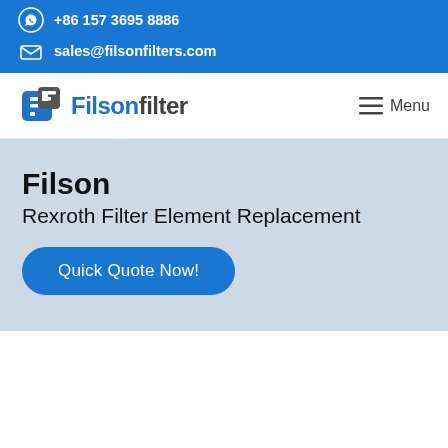+86 157 3695 8886
sales@filsonfilters.com
Filson Filter — Menu
Filson
Rexroth Filter Element Replacement
Quick Quote Now!